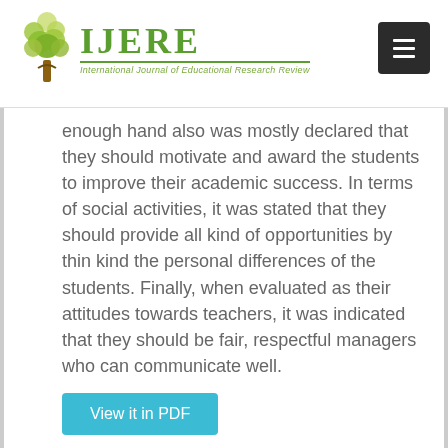IJERE — International Journal of Educational Research Review
enough hand also was mostly declared that they should motivate and award the students to improve their academic success. In terms of social activities, it was stated that they should provide all kind of opportunities by thin kind the personal differences of the students. Finally, when evaluated as their attitudes towards teachers, it was indicated that they should be fair, respectful managers who can communicate well.
View it in PDF